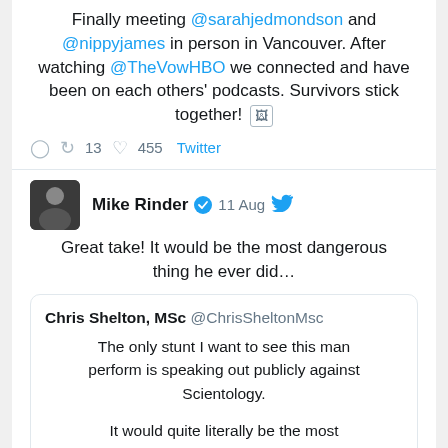Finally meeting @sarahjedmondson and @nippyjames in person in Vancouver. After watching @TheVowHBO we connected and have been on each others' podcasts. Survivors stick together! [image icon]
13 retweets  455 likes  Twitter
Mike Rinder  verified  11 Aug  [Twitter bird]
Great take! It would be the most dangerous thing he ever did…
Chris Shelton, MSc  @ChrisSheltonMsc
The only stunt I want to see this man perform is speaking out publicly against Scientology.

It would quite literally be the most dangerous thing he could ever do, far